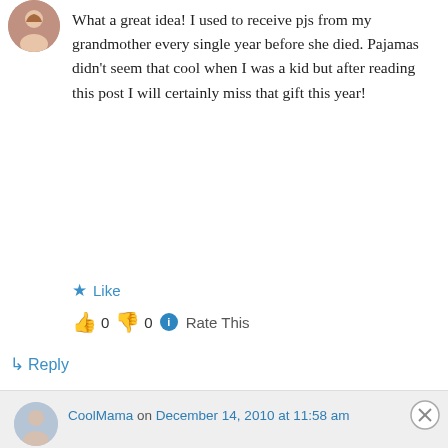[Figure (photo): Small circular avatar photo of a person, top-left corner]
What a great idea! I used to receive pjs from my grandmother every single year before she died. Pajamas didn't seem that cool when I was a kid but after reading this post I will certainly miss that gift this year!
★ Like
👍 0 👎 0 ℹ Rate This
↳ Reply
CoolMama on December 14, 2010 at 11:58 am
Advertisements
[Figure (photo): Advertisement banner for ULTA beauty products showing makeup imagery and 'SHOP NOW' call to action]